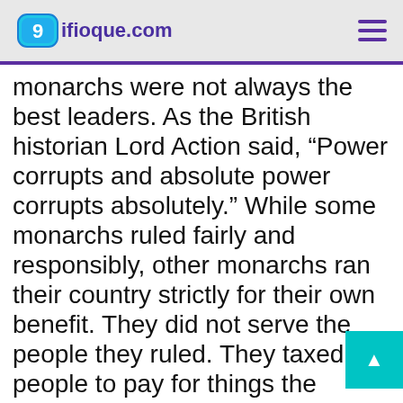9ifioque.com
monarchs were not always the best leaders. As the British historian Lord Action said, “Power corrupts and absolute power corrupts absolutely.” While some monarchs ruled fairly and responsibly, other monarchs ran their country strictly for their own benefit. They did not serve the people they ruled. They taxed the people to pay for things the people did not want or use, such